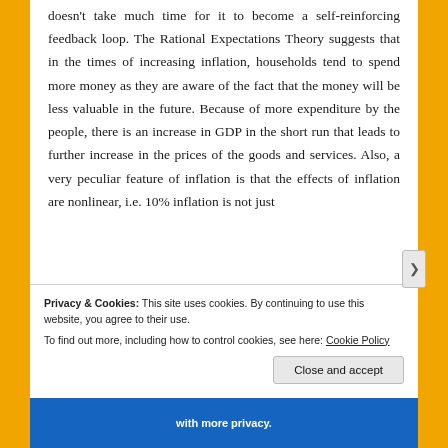doesn't take much time for it to become a self-reinforcing feedback loop. The Rational Expectations Theory suggests that in the times of increasing inflation, households tend to spend more money as they are aware of the fact that the money will be less valuable in the future. Because of more expenditure by the people, there is an increase in GDP in the short run that leads to further increase in the prices of the goods and services. Also, a very peculiar feature of inflation is that the effects of inflation are nonlinear, i.e. 10% inflation is not just
Privacy & Cookies: This site uses cookies. By continuing to use this website, you agree to their use.
To find out more, including how to control cookies, see here: Cookie Policy